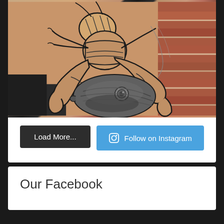[Figure (photo): A close-up photo of tattoos on a person's arm. The upper tattoo shows a detailed black and grey stag beetle (rhinoceros beetle) with large pincers/claws. Below it is a partial tattoo of a fish head in grey wash style. A brick wall is visible in the background on the right side.]
Load More...
Follow on Instagram
Our Facebook